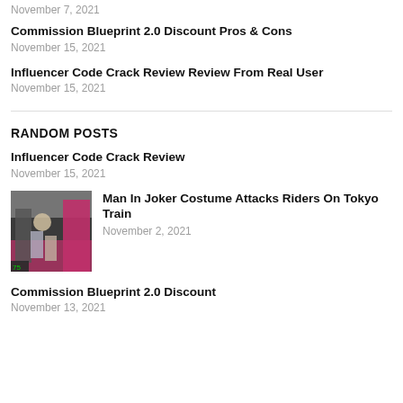November 7, 2021
Commission Blueprint 2.0 Discount Pros & Cons
November 15, 2021
Influencer Code Crack Review Review From Real User
November 15, 2021
RANDOM POSTS
Influencer Code Crack Review
November 15, 2021
Man In Joker Costume Attacks Riders On Tokyo Train
November 2, 2021
Commission Blueprint 2.0 Discount
November 13, 2021